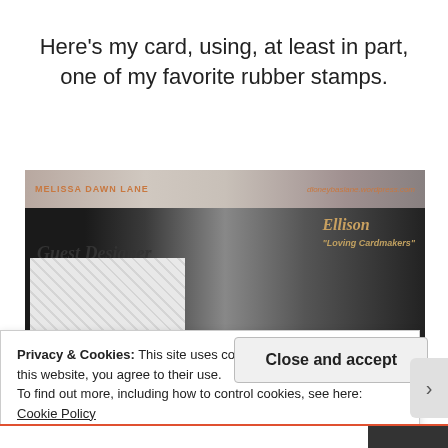Here's my card, using, at least in part, one of my favorite rubber stamps.
[Figure (photo): A craft card image showing a banner with 'MELISSA DAWN LANE' and 'Guest Designer' text with a white embossed panel, website URL and Ellison Cardmakers logo visible.]
Privacy & Cookies: This site uses cookies. By continuing to use this website, you agree to their use.
To find out more, including how to control cookies, see here: Cookie Policy